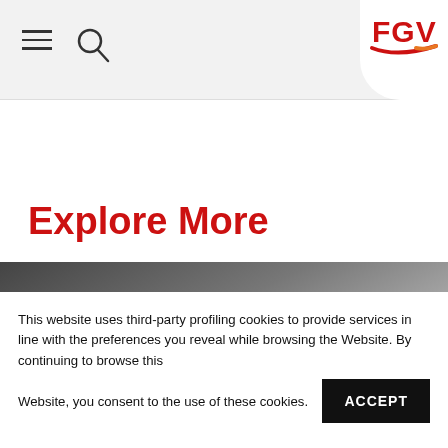FGV website header with hamburger menu, search icon, and FGV logo
Explore More
[Figure (photo): Grey gradient slider/image area with a right-arrow navigation circle button on the right side]
This website uses third-party profiling cookies to provide services in line with the preferences you reveal while browsing the Website. By continuing to browse this Website, you consent to the use of these cookies.